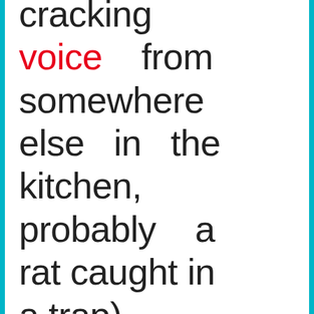cracking voice from somewhere else in the kitchen, probably a rat caught in a trap) ...